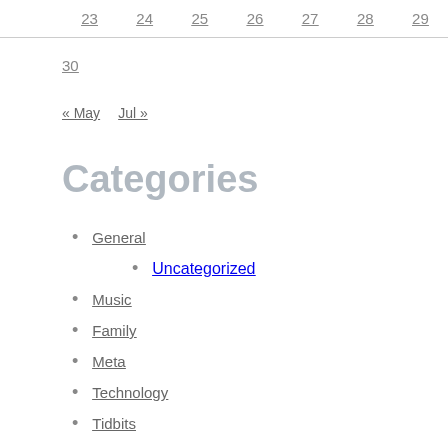| 23 | 24 | 25 | 26 | 27 | 28 | 29 |
| --- | --- | --- | --- | --- | --- | --- |
30
« May   Jul »
Categories
General
Uncategorized
Music
Family
Meta
Technology
Tidbits